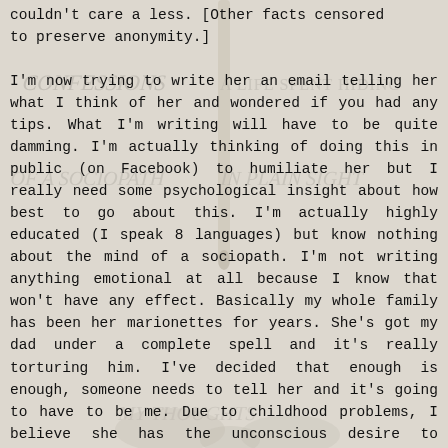couldn't care a less. [Other facts censored to preserve anonymity.]
[Figure (illustration): Handwritten overlaid text reading 'CONFESSIONS', 'A LIFE SPENT HIDING', 'OF A SOCIOPATH IN PLAIN SIGHT', 'MY THOUGHTS' in light gray cursive/print lettering as a background watermark-style overlay]
I'm now trying to write her an email telling her what I think of her and wondered if you had any tips. What I'm writing will have to be quite damming. I'm actually thinking of doing this in public (on Facebook) to humiliate her but I really need some psychological insight about how best to go about this. I'm actually highly educated (I speak 8 languages) but know nothing about the mind of a sociopath. I'm not writing anything emotional at all because I know that won't have any effect. Basically my whole family has been her marionettes for years. She's got my dad under a complete spell and it's really torturing him. I've decided that enough is enough, someone needs to tell her and it's going to have to be me. Due to childhood problems, I believe she has the unconscious desire to completely destroy me. D